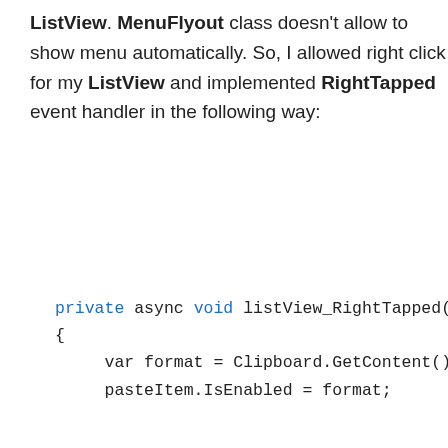ListView. MenuFlyout class doesn't allow to show menu automatically. So, I allowed right click for my ListView and implemented RightTapped event handler in the following way:
[Figure (screenshot): Code block showing: private async void listView_RightTapped(o { var format = Clipboard.GetContent().C pasteItem.IsEnabled = format;]
In order to implement a better UX I check if any files are
Privacy & Cookies: This site uses cookies. By continuing to use this website, you agree to their use. To find out more, including how to control cookies, see here: Cookie Policy
Close and accept